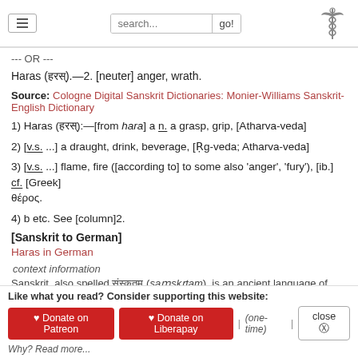search... go! [caduceus logo]
--- OR ---
Haras (हरस्).—2. [neuter] anger, wrath.
Source: Cologne Digital Sanskrit Dictionaries: Monier-Williams Sanskrit-English Dictionary
1) Haras (हरस्):—[from hara] a n. a grasp, grip, [Atharva-veda]
2) [v.s. ...] a draught, drink, beverage, [Ṛg-veda; Atharva-veda]
3) [v.s. ...] flame, fire ([according to] to some also 'anger', 'fury'), [ib.] cf. [Greek] θέρος.
4) b etc. See [column]2.
[Sanskrit to German]
Haras in German
context information
Sanskrit, also spelled संस्कृतम् (saṃskṛtam), is an ancient language of India commonly seen as the grandmother of the Indo-European language family (even English!). Closely allied with
Like what you read? Consider supporting this website: ♥ Donate on Patreon  ♥ Donate on Liberapay  | (one-time) |  close ⊗  Why? Read more...